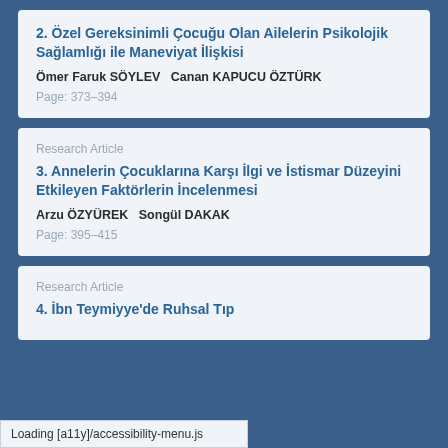2. Özel Gereksinimli Çocuğu Olan Ailelerin Psikolojik Sağlamlığı ile Maneviyat İlişkisi
Ömer Faruk SÖYLEV   Canan KAPUCU ÖZTÜRK
Page: 373–394
Research Article
3. Annelerin Çocuklarına Karşı İlgi ve İstismar Düzeyini Etkileyen Faktörlerin İncelenmesi
Arzu ÖZYÜREK   Songül DAKAK
Page: 395–415
Research Article
4. İbn Teymiyye'de Ruhsal Tıp
Loading [a11y]/accessibility-menu.js